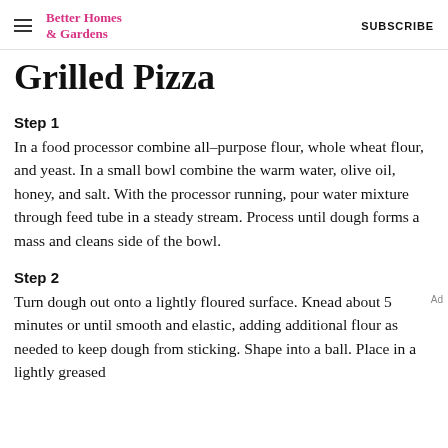Better Homes & Gardens   SUBSCRIBE
Grilled Pizza
Step 1
In a food processor combine all-purpose flour, whole wheat flour, and yeast. In a small bowl combine the warm water, olive oil, honey, and salt. With the processor running, pour water mixture through feed tube in a steady stream. Process until dough forms a mass and cleans side of the bowl.
Step 2
Turn dough out onto a lightly floured surface. Knead about 5 minutes or until smooth and elastic, adding additional flour as needed to keep dough from sticking. Shape into a ball. Place in a lightly greased